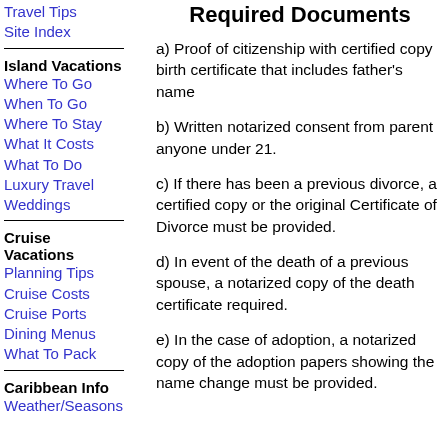Travel Tips
Site Index
Required Documents
Island Vacations
Where To Go
When To Go
Where To Stay
What It Costs
What To Do
Luxury Travel
Weddings
Cruise Vacations
Planning Tips
Cruise Costs
Cruise Ports
Dining Menus
What To Pack
Caribbean Info
Weather/Seasons
a) Proof of citizenship with certified copy birth certificate that includes father's name
b) Written notarized consent from parent anyone under 21.
c) If there has been a previous divorce, a certified copy or the original Certificate of Divorce must be provided.
d) In event of the death of a previous spouse, a notarized copy of the death certificate required.
e) In the case of adoption, a notarized copy of the adoption papers showing the name change must be provided.